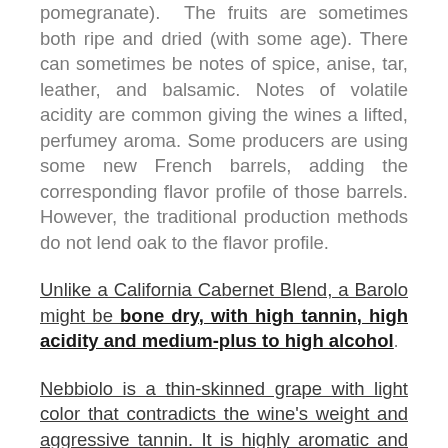pomegranate). The fruits are sometimes both ripe and dried (with some age). There can sometimes be notes of spice, anise, tar, leather, and balsamic. Notes of volatile acidity are common giving the wines a lifted, perfumey aroma. Some producers are using some new French barrels, adding the corresponding flavor profile of those barrels. However, the traditional production methods do not lend oak to the flavor profile.
Unlike a California Cabernet Blend, a Barolo might be bone dry, with high tannin, high acidity and medium-plus to high alcohol.
Nebbiolo is a thin-skinned grape with light color that contradicts the wine's weight and aggressive tannin. It is highly aromatic and driven by non fruit